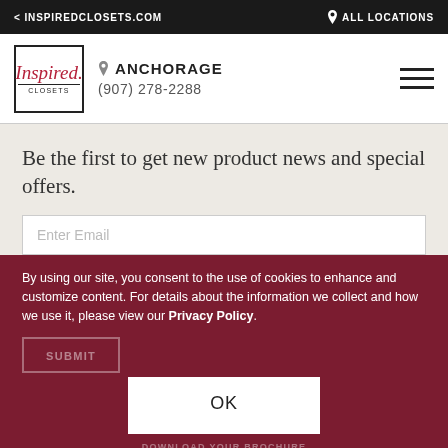< INSPIREDCLOSETS.COM | ALL LOCATIONS
[Figure (logo): Inspired Closets logo in a black-bordered box]
ANCHORAGE
(907) 278-2288
Be the first to get new product news and special offers.
Enter Email
By using our site, you consent to the use of cookies to enhance and customize content. For details about the information we collect and how we use it, please view our Privacy Policy.
OK
DOWNLOAD YOUR BROCHURE